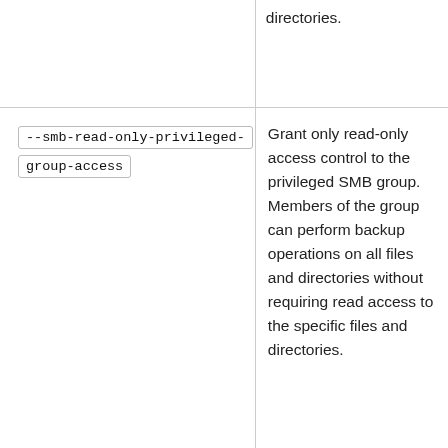|  | directories. |
| --smb-read-only-privileged-group-access | Grant only read-only access control to the privileged SMB group. Members of the group can perform backup operations on all files and directories without requiring read access to the specific files and directories. |